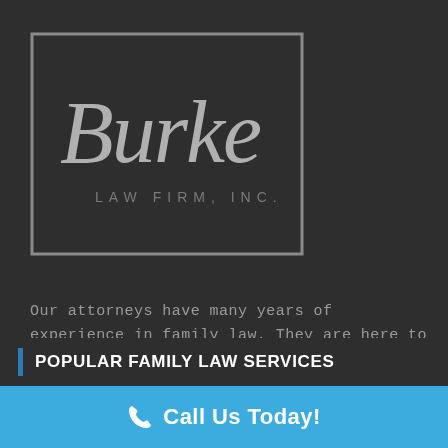[Figure (logo): Burke Law Firm, Inc. logo — cursive 'Burke' text inside a square outline box with 'LAW FIRM, INC.' in spaced capitals below]
Our attorneys have many years of experience in family law. They are here to help you through this difficult time while ensuring that your interests are protected.
POPULAR FAMILY LAW SERVICES
Call Us Today!